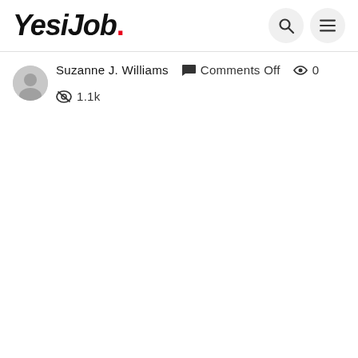YesiJob.
Suzanne J. Williams   Comments Off   0   1.1k